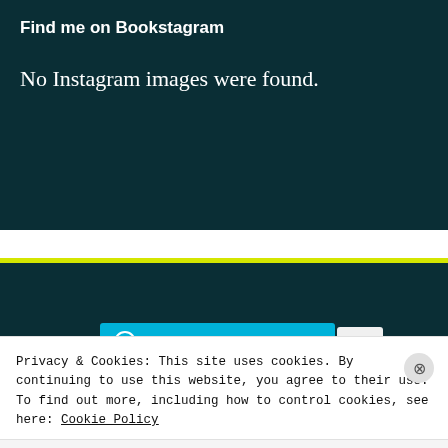Find me on Bookstagram
No Instagram images were found.
[Figure (screenshot): WordPress Follow button for 'Excuse My Reading' showing 640 followers]
Privacy & Cookies: This site uses cookies. By continuing to use this website, you agree to their use.
To find out more, including how to control cookies, see here: Cookie Policy
Close and accept